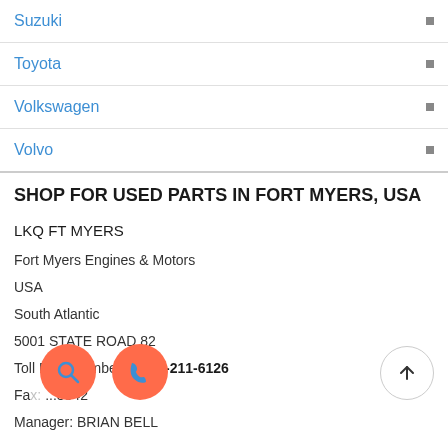Suzuki
Toyota
Volkswagen
Volvo
SHOP FOR USED PARTS IN FORT MYERS, USA
LKQ FT MYERS
Fort Myers Engines & Motors
USA
South Atlantic
5001 STATE ROAD 82
Toll Free Number: 1-844-211-6126
Fax: ...8342
Manager: BRIAN BELL